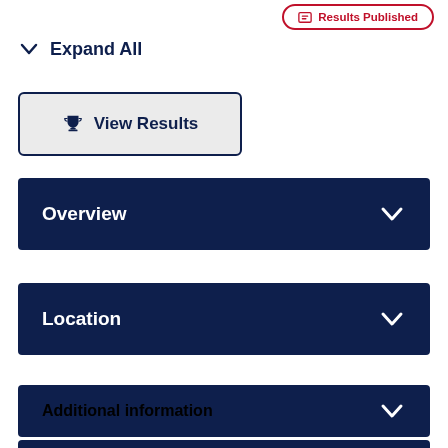Results Published
Expand All
View Results
Overview
Location
Additional information
Contacts (2)